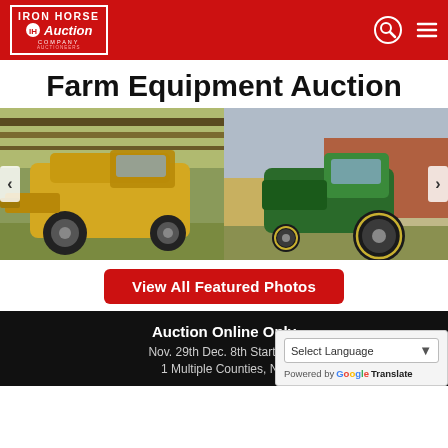Iron Horse Auction Company
Farm Equipment Auction
[Figure (photo): Two farm equipment photos: left shows a yellow New Holland combine/harvester under a shed; right shows a green John Deere tractor parked outside a brick building.]
View All Featured Photos
Auction Online Only
Nov. 29th Dec. 8th Starts En
1 Multiple Counties, NC